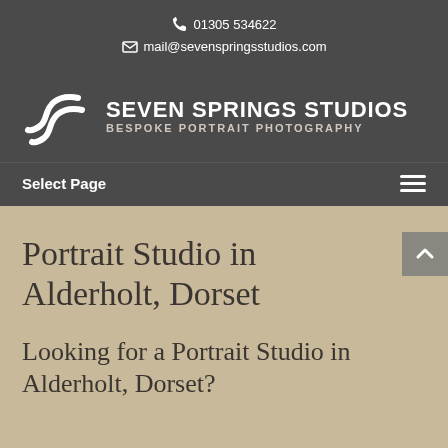📞 01305 534622
✉ mail@sevenspringsstudios.com
[Figure (logo): Seven Springs Studios logo — stylized SS letterform in white on dark grey background, with text SEVEN SPRINGS STUDIOS and BESPOKE PORTRAIT PHOTOGRAPHY]
Select Page
Portrait Studio in Alderholt, Dorset
Looking for a Portrait Studio in Alderholt, Dorset?